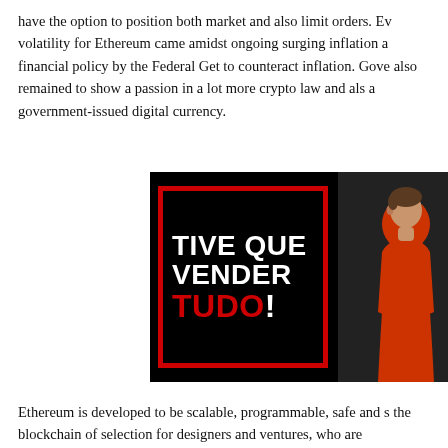have the option to position both market and also limit orders. Ev volatility for Ethereum came amidst ongoing surging inflation a financial policy by the Federal Get to counteract inflation. Gove also remained to show a passion in a lot more crypto law and als a government-issued digital currency.
[Figure (photo): Video thumbnail with black background, red border frame, bold white text reading 'TIVE QUE VENDER TUDO!' with TUDO in red, and a man in a red hoodie on the right side]
Ethereum is developed to be scalable, programmable, safe and s the blockchain of selection for designers and ventures, who are